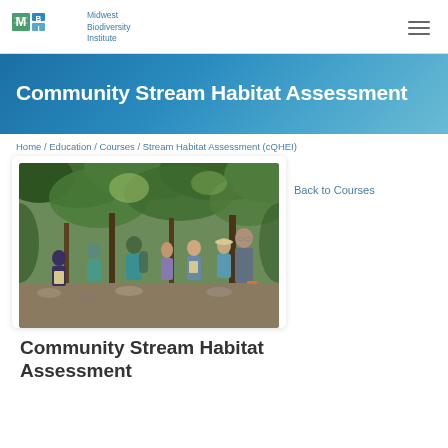Midwest Biodiversity Institute
Community Stream Habitat Assessment
Home / Education / Courses / Stream Habitat Assessment (cQHEI)
Back to Courses
[Figure (photo): Group of people standing outdoors along a stream bed with lush green trees overhead, several wearing teal shirts, some holding clipboards or papers, appearing to be conducting a field assessment.]
Community Stream Habitat Assessment